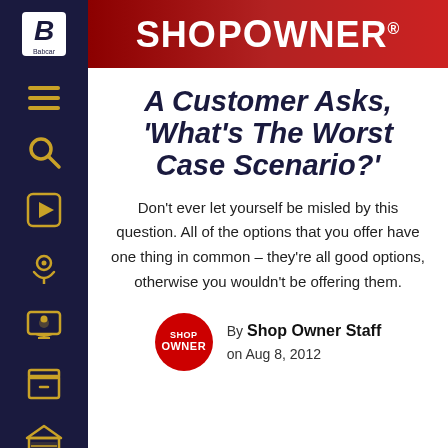SHOPOWNER
A Customer Asks, ‘What’s The Worst Case Scenario?’
Don’t ever let yourself be misled by this question. All of the options that you offer have one thing in common – they’re all good options, otherwise you wouldn’t be offering them.
By Shop Owner Staff on Aug 8, 2012